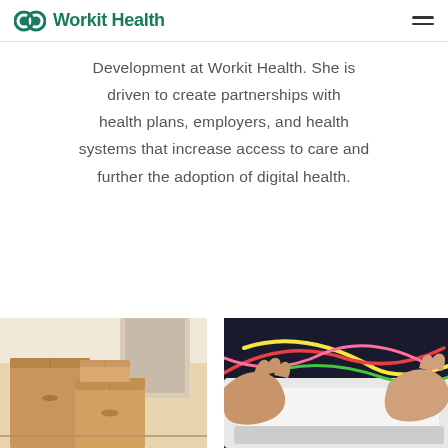Workit Health
Development at Workit Health. She is driven to create partnerships with health plans, employers, and health systems that increase access to care and further the adoption of digital health.
[Figure (photo): Cardboard moving boxes stacked in a room]
[Figure (photo): Close-up of hands holding colorful rubber bands or strings, with white sneakers visible]